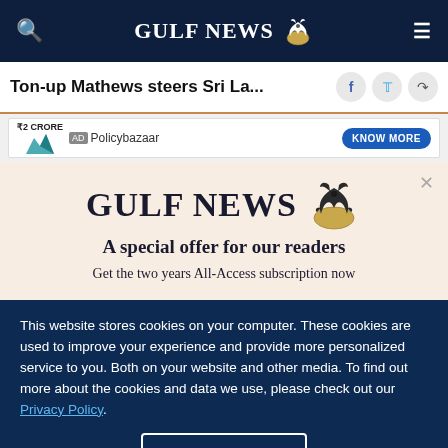GULF NEWS
Ton-up Mathews steers Sri La...
[Figure (screenshot): Advertisement banner for Policybazaar with '₹2 Crore' text and 'KNOW MORE' button]
[Figure (logo): Gulf News logo with eagle mascot in subscription modal]
A special offer for our readers
Get the two years All-Access subscription now
This website stores cookies on your computer. These cookies are used to improve your experience and provide more personalized service to you. Both on your website and other media. To find out more about the cookies and data we use, please check out our Privacy Policy.